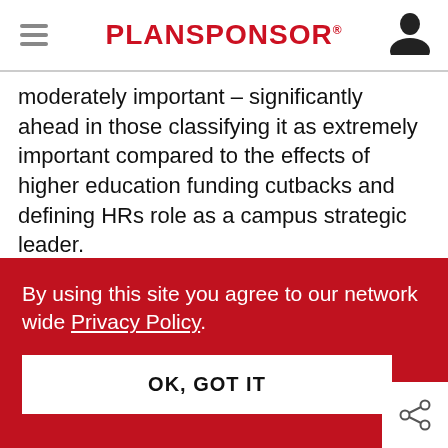PLANSPONSOR
moderately important – significantly ahead in those classifying it as extremely important compared to the effects of higher education funding cutbacks and defining HRs role as a campus strategic leader.
The survey covered 61 members of the College and University Professional Association (CUPA)
By using this site you agree to our network wide Privacy Policy.
OK, GOT IT